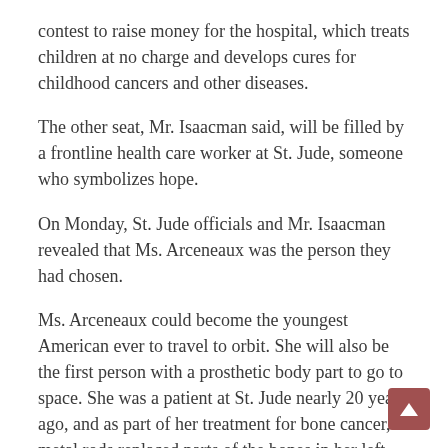contest to raise money for the hospital, which treats children at no charge and develops cures for childhood cancers and other diseases.
The other seat, Mr. Isaacman said, will be filled by a frontline health care worker at St. Jude, someone who symbolizes hope.
On Monday, St. Jude officials and Mr. Isaacman revealed that Ms. Arceneaux was the person they had chosen.
Ms. Arceneaux could become the youngest American ever to travel to orbit. She will also be the first person with a prosthetic body part to go to space. She was a patient at St. Jude nearly 20 years ago, and as part of her treatment for bone cancer, metal rods replaced parts of the bones in her left leg.
In the past, that would have kept her firmly on the ground, unable to meet NASA’s stringent medical standards for astronauts. But the advent of privately financed space travel has opened the final frontier to some people who were